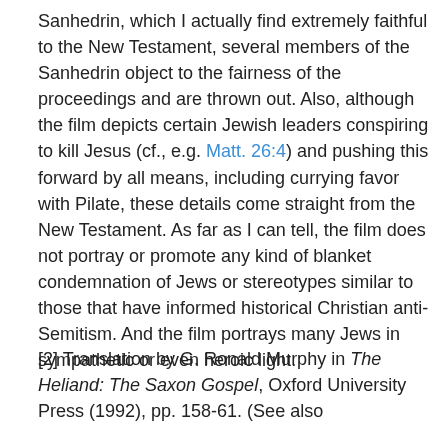Sanhedrin, which I actually find extremely faithful to the New Testament, several members of the Sanhedrin object to the fairness of the proceedings and are thrown out. Also, although the film depicts certain Jewish leaders conspiring to kill Jesus (cf., e.g. Matt. 26:4) and pushing this forward by all means, including currying favor with Pilate, these details come straight from the New Testament. As far as I can tell, the film does not portray or promote any kind of blanket condemnation of Jews or stereotypes similar to those that have informed historical Christian anti-Semitism. And the film portrays many Jews in sympathetic or even heroic light.
[2] Translation by G. Ronald Murphy in The Heliand: The Saxon Gospel, Oxford University Press (1992), pp. 158-61. (See also